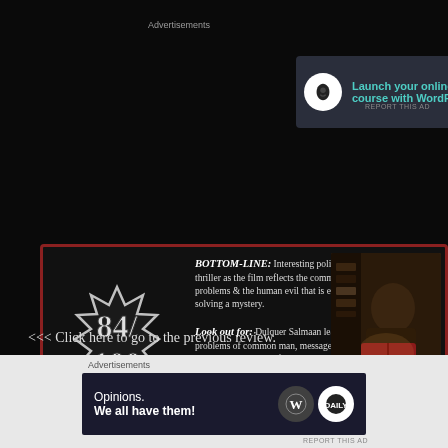Advertisements
[Figure (screenshot): Advertisement banner: Launch your online course with WordPress. Learn More button.]
[Figure (infographic): Movie review bottom-line box with score 84/100 starburst, review text, and film still image of Dulquer Salmaan]
<<< Click here to go to the previous review.
@ Cemetery Watch
[Figure (screenshot): Advertisement banner: Opinions. We all have them! WordPress logos.]